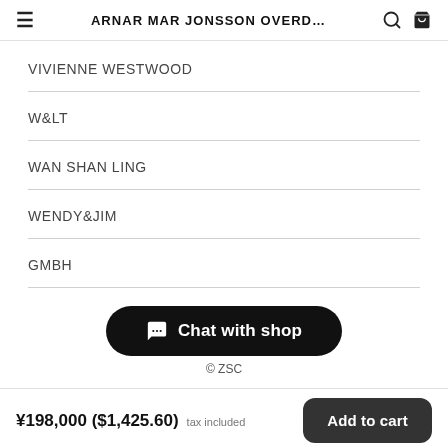ARNAR MAR JONSSON OVERD...
VIVIENNE WESTWOOD
W&LT
WAN SHAN LING
WENDY&JIM
GMBH
[Figure (other): Chat with shop button (rounded black pill button with speech bubble icon)]
© ZSC
¥198,000 ($1,425.60) tax included  Add to cart